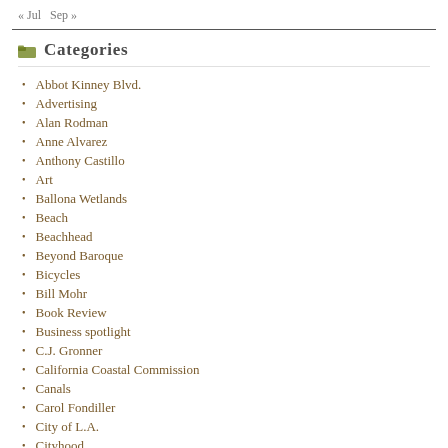« Jul   Sep »
Categories
Abbot Kinney Blvd.
Advertising
Alan Rodman
Anne Alvarez
Anthony Castillo
Art
Ballona Wetlands
Beach
Beachhead
Beyond Baroque
Bicycles
Bill Mohr
Book Review
Business spotlight
C.J. Gronner
California Coastal Commission
Canals
Carol Fondiller
City of L.A.
Cityhood
Civil Rights